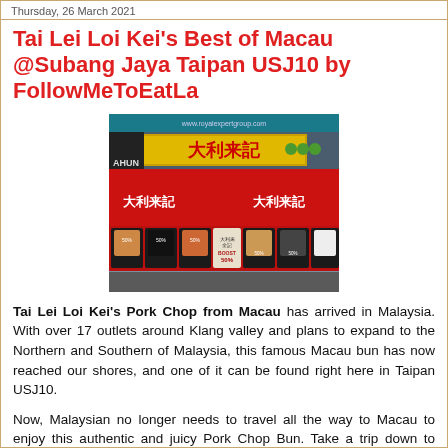Thursday, 26 March 2021
Tai Lei Loi Kei's Best of Macau @Subang Jaya Taipan USJ10 by FollowMeToEatLa
[Figure (photo): Exterior photo of Tai Lei Loi Kei restaurant showing red awning with Chinese characters and menu items displayed with food images, with TAHUN signage visible on the left and store sign 大利来記 above]
Tai Lei Loi Kei's Pork Chop from Macau has arrived in Malaysia. With over 17 outlets around Klang valley and plans to expand to the Northern and Southern of Malaysia, this famous Macau bun has now reached our shores, and one of it can be found right here in Taipan USJ10.
Now, Malaysian no longer needs to travel all the way to Macau to enjoy this authentic and juicy Pork Chop Bun. Take a trip down to Taipan USJ for an escapade to Macau